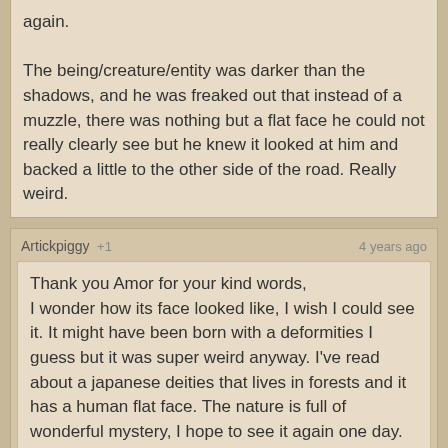again.

The being/creature/entity was darker than the shadows, and he was freaked out that instead of a muzzle, there was nothing but a flat face he could not really clearly see but he knew it looked at him and backed a little to the other side of the road. Really weird.
Artickpiggy +1 | 4 years ago
Thank you Amor for your kind words,
I wonder how its face looked like, I wish I could see it. It might have been born with a deformities I guess but it was super weird anyway. I've read about a japanese deities that lives in forests and it has a human flat face. The nature is full of wonderful mystery, I hope to see it again one day.

Did your brother see the dogs face? It looked like a normal dogs face or else? Wow
Amor | 4 years ago
Hi Artickpiggy,